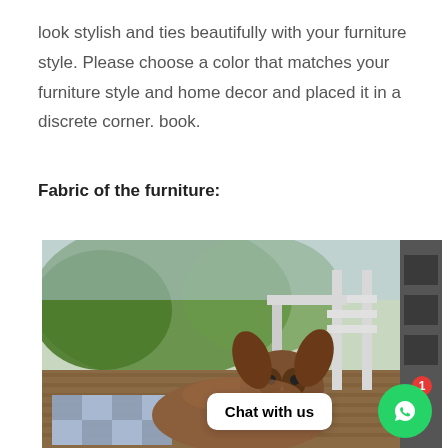look stylish and ties beautifully with your furniture style. Please choose a color that matches your furniture style and home decor and placed it in a discrete corner. book.
Fabric of the furniture:
[Figure (photo): A dog lying on a checkered mat on a wooden deck outdoors, with white garden furniture and a dark shelf unit visible in the background, surrounded by green garden scenery.]
Chat with us